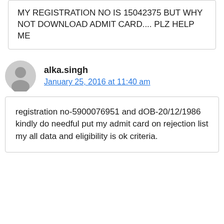MY REGISTRATION NO IS 15042375 BUT WHY NOT DOWNLOAD ADMIT CARD.... PLZ HELP ME
alka.singh
January 25, 2016 at 11:40 am
registration no-5900076951 and dOB-20/12/1986 kindly do needful put my admit card on rejection list my all data and eligibility is ok criteria.